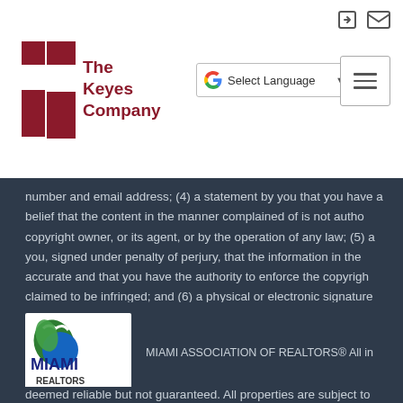The Keyes Company - navigation header with logo, Google Translate selector, and hamburger menu
number and email address; (4) a statement by you that you have a good faith belief that the content in the manner complained of is not authorized by the copyright owner, or its agent, or by the operation of any law; (5) a statement by you, signed under penalty of perjury, that the information in the notice is accurate and that you have the authority to enforce the copyright that is claimed to be infringed; and (6) a physical or electronic signature of the copyright owner or a person authorized to act on the copyright owner's behalf. Failure to include all of the above information may result in the delay of the processing of your complaint.
[Figure (logo): Miami Association of REALTORS logo - circular green and blue emblem with MIAMI REALTORS text]
MIAMI ASSOCIATION OF REALTORS® All in
deemed reliable but not guaranteed. All properties are subject to